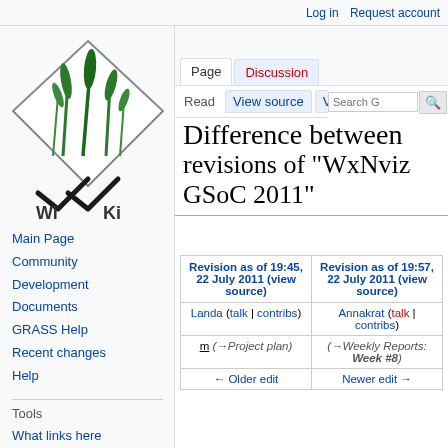Log in  Request account
[Figure (logo): WikGrass wiki logo - diamond shape with grass/reeds illustration, text 'Wi Ki' below]
Main Page
Community
Development
Documents
GRASS Help
Recent changes
Help
Tools
What links here
Related changes
Special pages
Printable version
Permanent link
Difference between revisions of "WxNviz GSoC 2011"
| Revision as of 19:45, 22 July 2011 (view source) | Revision as of 19:57, 22 July 2011 (view source) |
| --- | --- |
| Landa (talk | contribs) | Annakrat (talk | contribs) |
| m (→Project plan) | (→Weekly Reports: Week #8) |
| ← Older edit | Newer edit → |